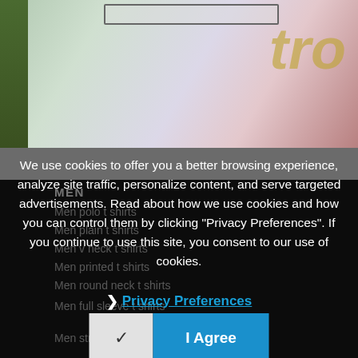[Figure (screenshot): Top banner image of a shopping website with a search bar and stylized logo text in gold, with a colorful blurred background]
MEN
Men polo t shirts
Men plain t shirts
Men v neck t shirts
Men printed t shirts
Men round neck t shirts
Men full sleeve t shirts
Men striped t shirts
We use cookies to offer you a better browsing experience, analyze site traffic, personalize content, and serve targeted advertisements. Read about how we use cookies and how you can control them by clicking "Privacy Preferences". If you continue to use this site, you consent to our use of cookies.
❯ Privacy Preferences
✓  I Agree